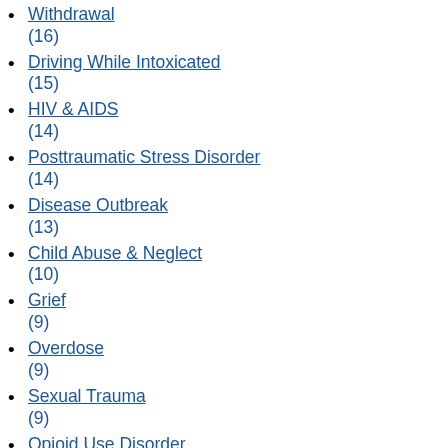Infectious Diseases (16)
Withdrawal (16)
Driving While Intoxicated (15)
HIV & AIDS (14)
Posttraumatic Stress Disorder (14)
Disease Outbreak (13)
Child Abuse & Neglect (10)
Grief (9)
Overdose (9)
Sexual Trauma (9)
Opioid Use Disorder (8)
Anxiety Disorders & Phobias (7)
Hepatitis (?)